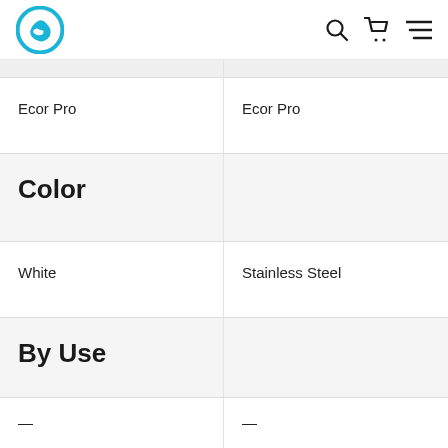Ecor Pro logo with search, cart, and menu icons
| Column 1 | Column 2 |
| --- | --- |
| Ecor Pro | Ecor Pro |
| Color |  |
| White | Stainless Steel |
| By Use |  |
| — | — |